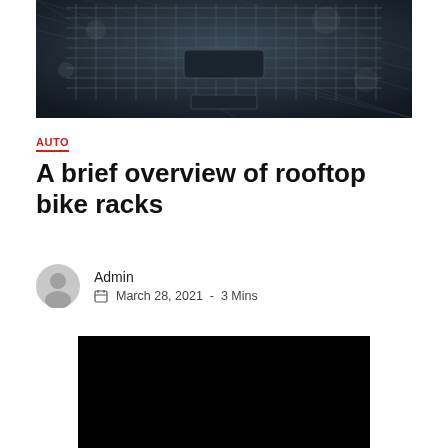[Figure (photo): Close-up of a wet car grille with diamond mesh pattern, soapy water on dark metal surface]
AUTO
A brief overview of rooftop bike racks
Admin
March 28, 2021  -  3 Mins
[Figure (photo): Black/dark image, possibly a video thumbnail or dark photo]